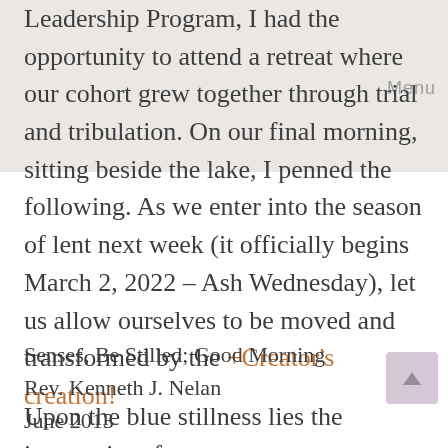[Figure (photo): Faded background photo visible in top portion of page with gray overlay]
Leadership Program, I had the opportunity to attend a retreat where our cohort grew together through trial and tribulation. On our final morning, sitting beside the lake, I penned the following. As we enter into the season of lent next week (it officially begins March 2, 2022 – Ash Wednesday), let us allow ourselves to be moved and transformed by the +Creator's creation!
Senses, Be Stilled; Good Morning
Rev. Kenneth J. Nelan
June 2013
Upon the blue stillness lies the immensity of all seen and unseen